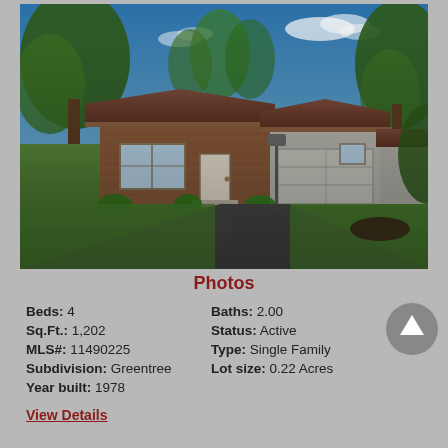[Figure (photo): Exterior front view of a single-story brick ranch house with attached garage, long asphalt driveway, and mature trees under blue sky]
Photos
Beds: 4   Baths: 2.00
Sq.Ft.: 1,202   Status: Active
MLS#: 11490225   Type: Single Family
Subdivision: Greentree   Lot size: 0.22 Acres
Year built: 1978
View Details